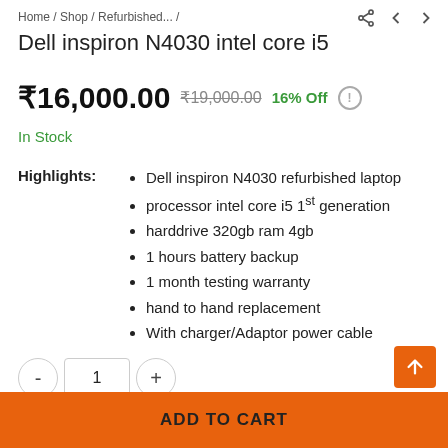Home / Shop / Refurbished... /
Dell inspiron N4030 intel core i5
₹16,000.00  ₹19,000.00  16% Off  !
In Stock
Highlights:
Dell inspiron N4030 refurbished laptop
processor intel core i5 1st generation
harddrive 320gb ram 4gb
1 hours battery backup
1 month testing warranty
hand to hand replacement
With charger/Adaptor power cable
- 1 +
ADD TO CART